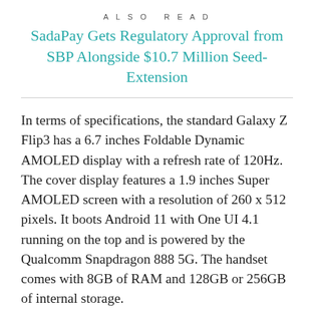ALSO READ
SadaPay Gets Regulatory Approval from SBP Alongside $10.7 Million Seed-Extension
In terms of specifications, the standard Galaxy Z Flip3 has a 6.7 inches Foldable Dynamic AMOLED display with a refresh rate of 120Hz. The cover display features a 1.9 inches Super AMOLED screen with a resolution of 260 x 512 pixels. It boots Android 11 with One UI 4.1 running on the top and is powered by the Qualcomm Snapdragon 888 5G. The handset comes with 8GB of RAM and 128GB or 256GB of internal storage.
Galaxy Z Flip3 features a dual-camera setup at the rear with a 12MP f/1.8 wide and 12MP f/2.2 ultra